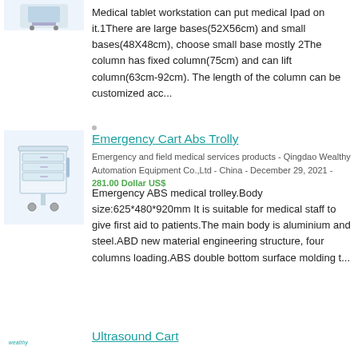[Figure (photo): Partial view of medical tablet workstation cart (top portion visible)]
Medical tablet workstation can put medical Ipad on it.1There are large bases(52X56cm) and small bases(48X48cm), choose small base mostly 2The column has fixed column(75cm) and can lift column(63cm-92cm). The length of the column can be customized acc...
[Figure (photo): Emergency Cart ABS Trolley - white medical trolley with drawers on wheels]
Emergency Cart Abs Trollly
Emergency and field medical services products - Qingdao Wealthy Automation Equipment Co.,Ltd - China - December 29, 2021 - 281.00 Dollar US$
Emergency ABS medical trolley.Body size:625*480*920mm It is suitable for medical staff to give first aid to patients.The main body is aluminium and steel.ABD new material engineering structure, four columns loading.ABS double bottom surface molding t...
[Figure (photo): Wealthy logo / Ultrasound Cart product listing image (partially visible)]
Ultrasound Cart